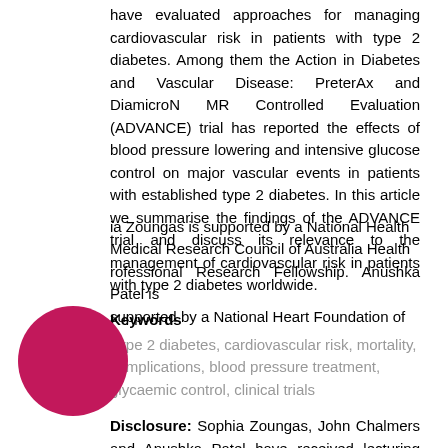have evaluated approaches for managing cardiovascular risk in patients with type 2 diabetes. Among them the Action in Diabetes and Vascular Disease: PreterAx and DiamicroN MR Controlled Evaluation (ADVANCE) trial has reported the effects of blood pressure lowering and intensive glucose control on major vascular events in patients with established type 2 diabetes. In this article we summarise the findings of the ADVANCE trial and discuss its relevance to the management of cardiovascular risk in patients with type 2 diabetes worldwide.
Keywords
Type 2 diabetes, cardiovascular risk, mortality, complications, blood pressure treatment, glycaemic control, clinical trials
Disclosure: Sophia Zoungas, John Chalmers and Anushka Patel have received lecturing fees from Servier. John Chalmers holds a research grant from Servier as principal investigator for ADVANCE. Sophia Zoungas is supported by a National Health Medical Research Council of Australia Health Professional Research Fellowship. Anushka Patel is supported by a National Heart Foundation of
[Figure (illustration): A solid pink/magenta circle (decorative element) in the bottom-left area of the page]